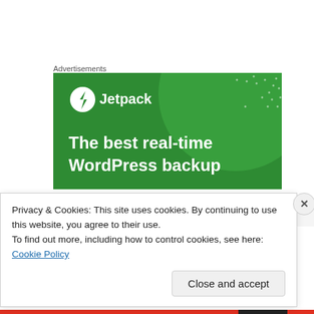Advertisements
[Figure (illustration): Jetpack advertisement banner on green background. Shows Jetpack logo (lightning bolt in circle) and text 'The best real-time WordPress backup']
Privacy & Cookies: This site uses cookies. By continuing to use this website, you agree to their use.
To find out more, including how to control cookies, see here: Cookie Policy
Close and accept